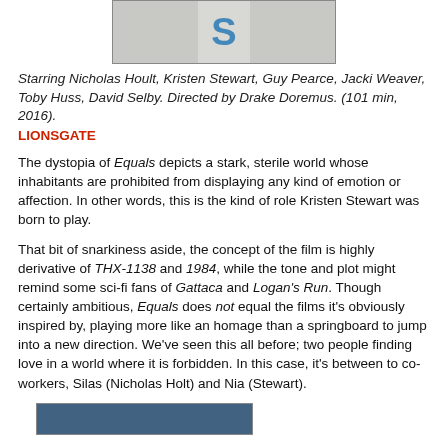[Figure (photo): Top portion of a movie still or poster image, mostly white/grey background with a blue letter S visible]
Starring Nicholas Hoult, Kristen Stewart, Guy Pearce, Jacki Weaver, Toby Huss, David Selby. Directed by Drake Doremus. (101 min, 2016).
LIONSGATE
The dystopia of Equals depicts a stark, sterile world whose inhabitants are prohibited from displaying any kind of emotion or affection. In other words, this is the kind of role Kristen Stewart was born to play.
That bit of snarkiness aside, the concept of the film is highly derivative of THX-1138 and 1984, while the tone and plot might remind some sci-fi fans of Gattaca and Logan's Run. Though certainly ambitious, Equals does not equal the films it's obviously inspired by, playing more like an homage than a springboard to jump into a new direction. We've seen this all before; two people finding love in a world where it is forbidden. In this case, it's between to co-workers, Silas (Nicholas Holt) and Nia (Stewart).
[Figure (photo): Bottom portion of a movie still showing a dark blue-toned scene]